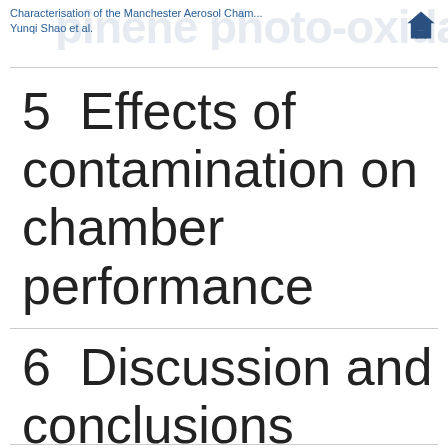Characterisation of the Manchester Aerosol Cham... | Yunqi Shao et al.
5  Effects of contamination on chamber performance
6  Discussion and conclusions